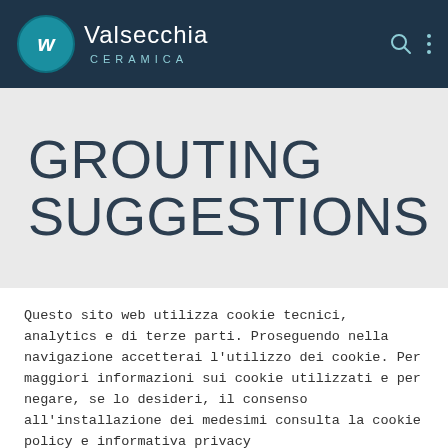Valsecchia Ceramica
GROUTING SUGGESTIONS
Questo sito web utilizza cookie tecnici, analytics e di terze parti. Proseguendo nella navigazione accetterai l'utilizzo dei cookie. Per maggiori informazioni sui cookie utilizzati e per negare, se lo desideri, il consenso all'installazione dei medesimi consulta la cookie policy e informativa privacy
PRIVACY POLICY   ACCETTO